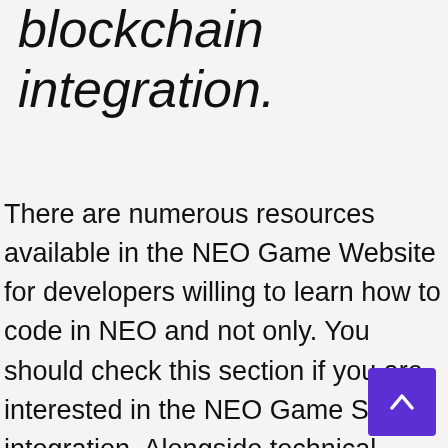blockchain integration.
There are numerous resources available in the NEO Game Website for developers willing to learn how to code in NEO and not only. You should check this section if you are interested in the NEO Game SDK integration. Alongside technical documentation, you can find information on smart contracts, python, and docker integration.